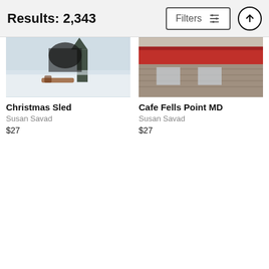Results: 2,343
[Figure (photo): Cropped photo of a Christmas sled in snow]
Christmas Sled
Susan Savad
$27
[Figure (photo): Cropped photo of Cafe Fells Point MD]
Cafe Fells Point MD
Susan Savad
$27